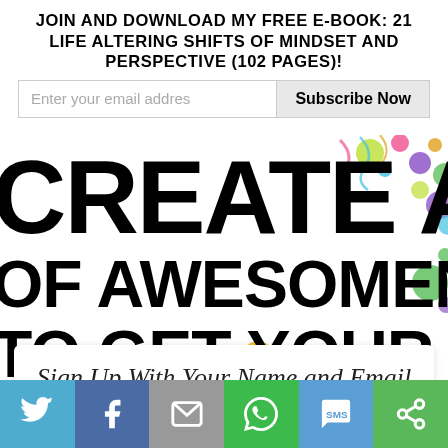Join and download my free e-book: 21 Life Altering Shifts Of Mindset And Perspective (102 pages)!
Enter your email addres
Subscribe Now
[Figure (infographic): Large bold text on white/illustrated background reading CREATE A OF AWESOMENESS! TO GET YOUR COPY with colorful balls/confetti decoration]
Sign Up With Your Name and Email Address
[Figure (infographic): Social sharing bar with Twitter, Facebook, Email, WhatsApp, SMS, and Share icons on colored backgrounds]